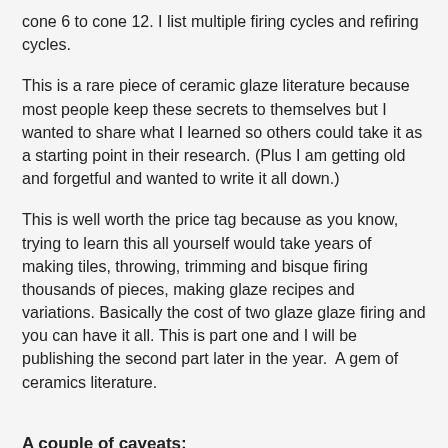cone 6 to cone 12. I list multiple firing cycles and refiring cycles.
This is a rare piece of ceramic glaze literature because most people keep these secrets to themselves but I wanted to share what I learned so others could take it as a starting point in their research. (Plus I am getting old and forgetful and wanted to write it all down.)
This is well worth the price tag because as you know, trying to learn this all yourself would take years of making tiles, throwing, trimming and bisque firing thousands of pieces, making glaze recipes and variations. Basically the cost of two glaze glaze firing and you can have it all. This is part one and I will be publishing the second part later in the year.  A gem of ceramics literature.
A couple of caveats:
1. Manganese is a dangerous fume hazard so these glazes must be treated with care. I have kilns that are outside, so I don't